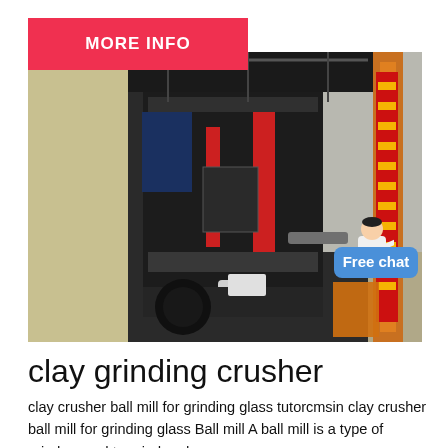MORE INFO
[Figure (photo): Industrial factory interior showing large grinding/crushing machinery with red and black equipment, overhead cranes, and a vertical orange structure on the right side]
clay grinding crusher
clay crusher ball mill for grinding glass tutorcmsin clay crusher ball mill for grinding glass Ball mill A ball mill is a type of grinder used to grind and.